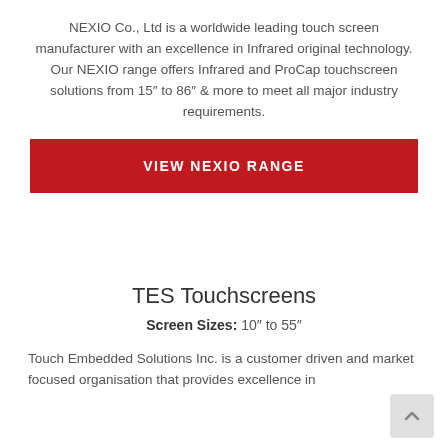NEXIO Co., Ltd is a worldwide leading touch screen manufacturer with an excellence in Infrared original technology. Our NEXIO range offers Infrared and ProCap touchscreen solutions from 15″ to 86″ & more to meet all major industry requirements.
View NEXIO Range
TES Touchscreens
Screen Sizes: 10″ to 55″
Touch Embedded Solutions Inc. is a customer driven and market focused organisation that provides excellence in